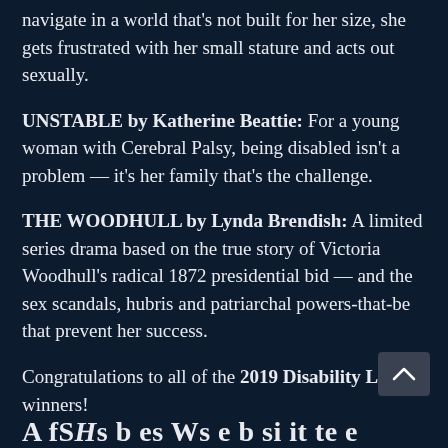navigate in a world that's not built for her size, she gets frustrated with her small stature and acts out sexually.
UNSTABLE by Katherine Beattie: For a young woman with Cerebral Palsy, being disabled isn't a problem — it's her family that's the challenge.
THE WOODHULL by Lynda Brendish: A limited series drama based on the true story of Victoria Woodhull's radical 1872 presidential bid — and the sex scandals, hubris and patriarchal powers-that-be that prevent her success.
Congratulations to all of the 2019 Disability List winners!
A fS Hs b es Ws e b si it te e